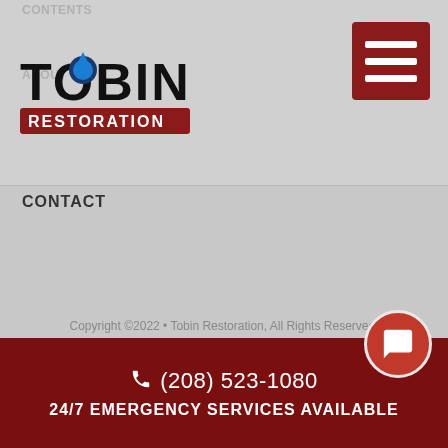CONTENTS
[Figure (logo): Tobin Restoration logo with blue water drop in the O and red banner saying RESTORATION]
CONTENTS
ABOUT US
CONTACT
Copyright ©2022 • Tobin Restoration, All Rights Reserved.
(208) 523-1080
24/7 EMERGENCY SERVICES AVAILABLE